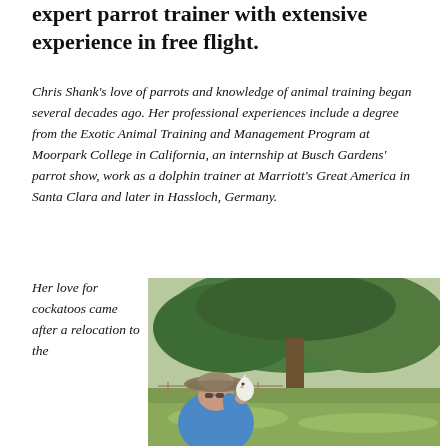expert parrot trainer with extensive experience in free flight.
Chris Shank's love of parrots and knowledge of animal training began several decades ago. Her professional experiences include a degree from the Exotic Animal Training and Management Program at Moorpark College in California, an internship at Busch Gardens' parrot show, work as a dolphin trainer at Marriott's Great America in Santa Clara and later in Hassloch, Germany.
Her love for cockatoos came after a relocation to the
[Figure (photo): Outdoor photo of a woman wearing a wide-brimmed hat and blue jacket, holding a white cockatoo near her face. Background shows green trees and grass on a sunny day.]